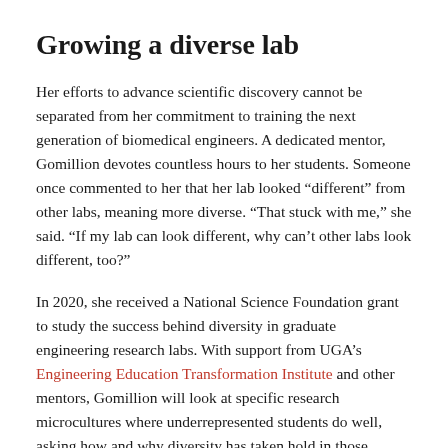Growing a diverse lab
Her efforts to advance scientific discovery cannot be separated from her commitment to training the next generation of biomedical engineers. A dedicated mentor, Gomillion devotes countless hours to her students. Someone once commented to her that her lab looked “different” from other labs, meaning more diverse. “That stuck with me,” she said. “If my lab can look different, why can’t other labs look different, too?”
In 2020, she received a National Science Foundation grant to study the success behind diversity in graduate engineering research labs. With support from UGA’s Engineering Education Transformation Institute and other mentors, Gomillion will look at specific research microcultures where underrepresented students do well, asking how and why diversity has taken hold in those locations.
Long term, she hopes to direct future STEM research